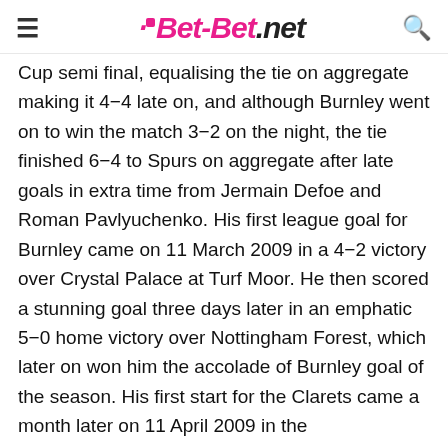Bet-Bet.net
Cup semi final, equalising the tie on aggregate making it 4−4 late on, and although Burnley went on to win the match 3−2 on the night, the tie finished 6−4 to Spurs on aggregate after late goals in extra time from Jermain Defoe and Roman Pavlyuchenko. His first league goal for Burnley came on 11 March 2009 in a 4−2 victory over Crystal Palace at Turf Moor. He then scored a stunning goal three days later in an emphatic 5−0 home victory over Nottingham Forest, which later on won him the accolade of Burnley goal of the season. His first start for the Clarets came a month later on 11 April 2009 in the Championship match against Queens Park Rangers in a 1−0 win. Rodriguez was also played a part in Burnley's play off campaign which saw them promoted to the Premier League after victories over Reading, and a 1−0